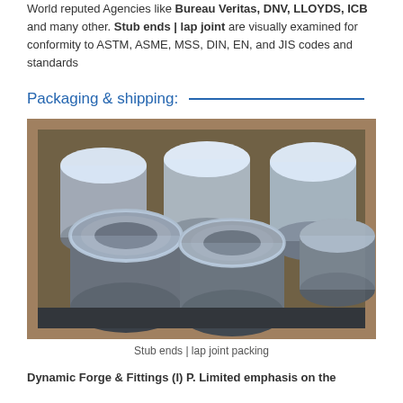World reputed Agencies like Bureau Veritas, DNV, LLOYDS, ICB and many other. Stub ends | lap joint are visually examined for conformity to ASTM, ASME, MSS, DIN, EN, and JIS codes and standards
Packaging & shipping:
[Figure (photo): Metal stub ends / lap joints individually wrapped in plastic film, stacked in a wooden crate for shipping packaging.]
Stub ends | lap joint packing
Dynamic Forge & Fittings (I) P. Limited emphasis on the